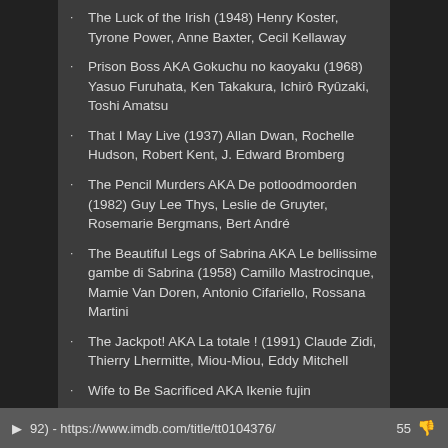The Luck of the Irish (1948) Henry Koster, Tyrone Power, Anne Baxter, Cecil Kellaway
Prison Boss AKA Gokuchu no kaoyaku (1968) Yasuo Furuhata, Ken Takakura, Ichirô Ryûzaki, Toshi Amatsu
That I May Live (1937) Allan Dwan, Rochelle Hudson, Robert Kent, J. Edward Bromberg
The Pencil Murders AKA De potloodmoorden (1982) Guy Lee Thys, Leslie de Gruyter, Rosemarie Bergmans, Bert André
The Beautiful Legs of Sabrina AKA Le bellissime gambe di Sabrina (1958) Camillo Mastrocinque, Mamie Van Doren, Antonio Cifariello, Rossana Martini
The Jackpot! AKA La totale ! (1991) Claude Zidi, Thierry Lhermitte, Miou-Miou, Eddy Mitchell
Wife to Be Sacrificed AKA Ikenie fujin
92) - https://www.imdb.com/title/tt0104376/    55